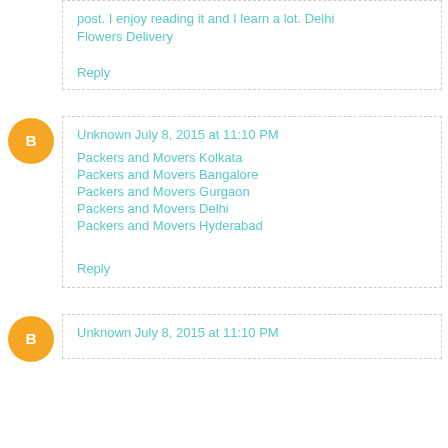post. I enjoy reading it and I learn a lot. Delhi Flowers Delivery
Reply
Unknown  July 8, 2015 at 11:10 PM
Packers and Movers Kolkata
Packers and Movers Bangalore
Packers and Movers Gurgaon
Packers and Movers Delhi
Packers and Movers Hyderabad
Reply
Unknown  July 8, 2015 at 11:10 PM